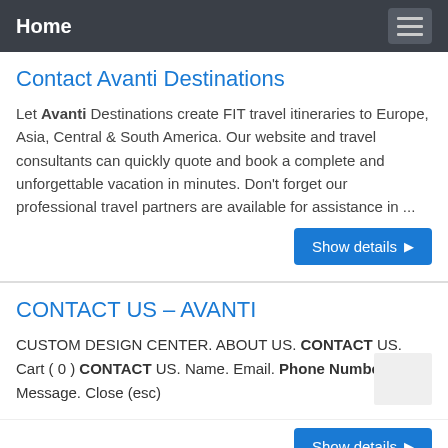Home
Contact Avanti Destinations
Let Avanti Destinations create FIT travel itineraries to Europe, Asia, Central & South America. Our website and travel consultants can quickly quote and book a complete and unforgettable vacation in minutes. Don't forget our professional travel partners are available for assistance in ...
CONTACT US – AVANTI
CUSTOM DESIGN CENTER. ABOUT US. CONTACT US. Cart ( 0 ) CONTACT US. Name. Email. Phone Number Message. Close (esc)